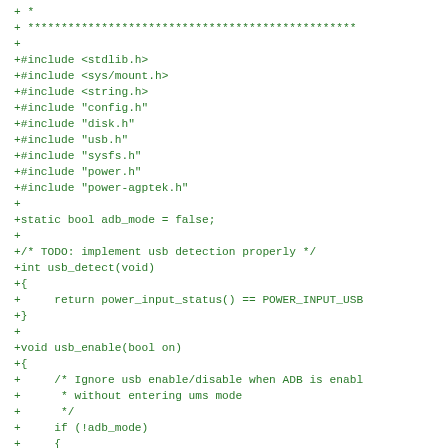+ *
+ *************************************************
+
+#include <stdlib.h>
+#include <sys/mount.h>
+#include <string.h>
+#include "config.h"
+#include "disk.h"
+#include "usb.h"
+#include "sysfs.h"
+#include "power.h"
+#include "power-agptek.h"
+
+static bool adb_mode = false;
+
+/* TODO: implement usb detection properly */
+int usb_detect(void)
+{
+     return power_input_status() == POWER_INPUT_USB
+}
+
+void usb_enable(bool on)
+{
+     /* Ignore usb enable/disable when ADB is enabl
+      * without entering ums mode
+      */
+     if (!adb_mode)
+     {
+          sysfs_set_int("/sys/class/android_usb/andr
+     }